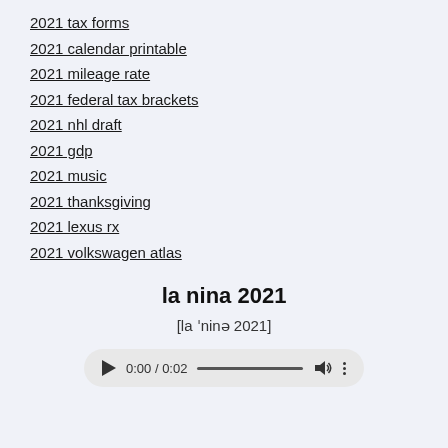2021 tax forms
2021 calendar printable
2021 mileage rate
2021 federal tax brackets
2021 nhl draft
2021 gdp
2021 music
2021 thanksgiving
2021 lexus rx
2021 volkswagen atlas
la nina 2021
[la ˈninə 2021]
[Figure (other): Audio player widget showing 0:00 / 0:02 with play button, progress bar, volume icon, and more options icon]